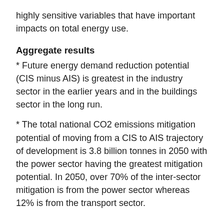highly sensitive variables that have important impacts on total energy use.
Aggregate results
* Future energy demand reduction potential (CIS minus AIS) is greatest in the industry sector in the earlier years and in the buildings sector in the long run.
* The total national CO2 emissions mitigation potential of moving from a CIS to AIS trajectory of development is 3.8 billion tonnes in 2050 with the power sector having the greatest mitigation potential. In 2050, over 70% of the inter-sector mitigation is from the power sector whereas 12% is from the transport sector.